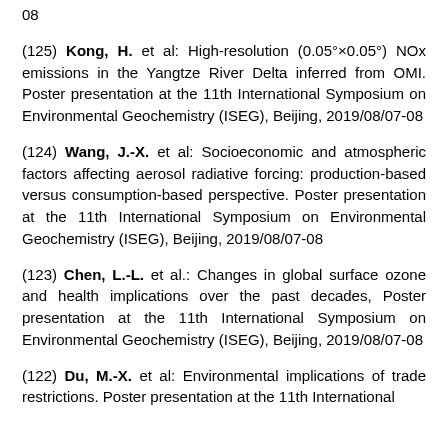08
(125) Kong, H. et al: High-resolution (0.05°×0.05°) NOx emissions in the Yangtze River Delta inferred from OMI. Poster presentation at the 11th International Symposium on Environmental Geochemistry (ISEG), Beijing, 2019/08/07-08
(124) Wang, J.-X. et al: Socioeconomic and atmospheric factors affecting aerosol radiative forcing: production-based versus consumption-based perspective. Poster presentation at the 11th International Symposium on Environmental Geochemistry (ISEG), Beijing, 2019/08/07-08
(123) Chen, L.-L. et al.: Changes in global surface ozone and health implications over the past decades, Poster presentation at the 11th International Symposium on Environmental Geochemistry (ISEG), Beijing, 2019/08/07-08
(122) Du, M.-X. et al: Environmental implications of trade restrictions. Poster presentation at the 11th International